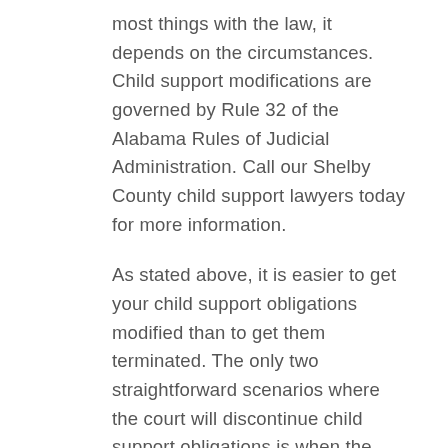most things with the law, it depends on the circumstances. Child support modifications are governed by Rule 32 of the Alabama Rules of Judicial Administration. Call our Shelby County child support lawyers today for more information.
As stated above, it is easier to get your child support obligations modified than to get them terminated. The only two straightforward scenarios where the court will discontinue child support obligations is when the child turns nineteen or if the child dies. Other circumstances that could lead to the court terminating child support obligations are if the paying parent obtains physical custody of the child, if the paying parent loses or forfeits their parental rights, or if the paying parent requests